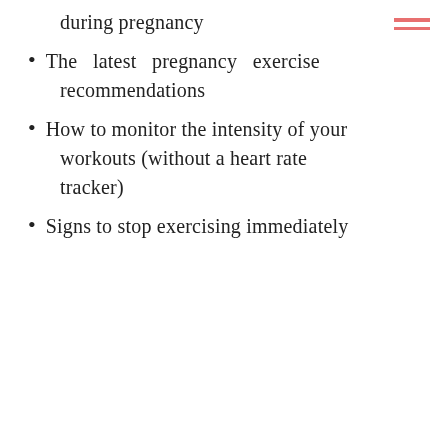during pregnancy
The latest pregnancy exercise recommendations
How to monitor the intensity of your workouts (without a heart rate tracker)
Signs to stop exercising immediately